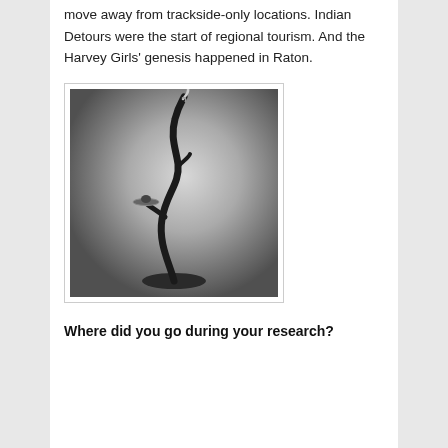move away from trackside-only locations. Indian Detours were the start of regional tourism. And the Harvey Girls' genesis happened in Raton.
[Figure (photo): A tall, slender sculptural metal object resembling an abstract candlestick or standing figure, with a curved dark metal stem rising from a circular base, a small platform midway, and a twisted metal element at the top. Photographed against a grey gradient background.]
Where did you go during your research?